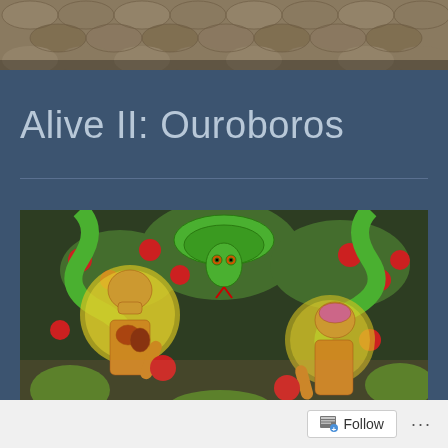[Figure (photo): Close-up photograph of snake scales, brownish-grey texture, cropped at top of page]
Alive II: Ouroboros
[Figure (illustration): Colorful painting showing two anatomical human figures with visible skeletons and organs, halos, eating red apples. Green snakes coil above among red apples and foliage. Surreal, detailed illustration.]
Follow ...